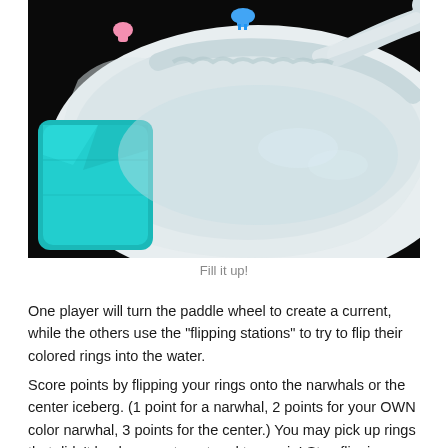[Figure (photo): Close-up photo of a white plastic toy tub/basin with a teal/turquoise ice block on the left, a pink small figure and a blue small narwhal figure visible at the top, against a dark black background. The white basin has a curved, bumpy rim.]
Fill it up!
One player will turn the paddle wheel to create a current, while the others use the "flipping stations" to try to flip their colored rings into the water.
Score points by flipping your rings onto the narwhals or the center iceberg. (1 point for a narwhal, 2 points for your OWN color narwhal, 3 points for the center.) You may pick up rings that didn't land on any target and try again! Stop flipping